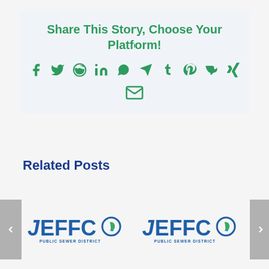Share This Story, Choose Your Platform!
[Figure (infographic): Row of social media share icons: Facebook, Twitter, Reddit, LinkedIn, WhatsApp, Telegram, Tumblr, Pinterest, VK, Xing, and Email]
Related Posts
[Figure (logo): Jeffco Public Sewer District logo - left carousel item]
[Figure (logo): Jeffco Public Sewer District logo - right carousel item]